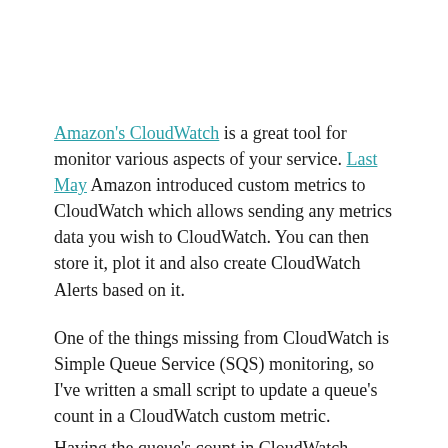Amazon's CloudWatch is a great tool for monitor various aspects of your service. Last May Amazon introduced custom metrics to CloudWatch which allows sending any metrics data you wish to CloudWatch. You can then store it, plot it and also create CloudWatch Alerts based on it.
One of the things missing from CloudWatch is Simple Queue Service (SQS) monitoring, so I've written a small script to update a queue's count in a CloudWatch custom metric. Having the queue's count in CloudWatch allows adding alerts and actions based on the queue's length.
For example, if the queue's length is above a certain